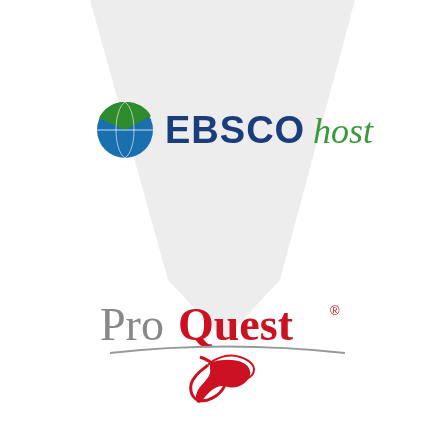[Figure (logo): EBSCOhost logo with circular green and blue icon followed by 'EBSCO' in bold dark blue and 'host' in green italic text]
[Figure (logo): ProQuest logo with 'Pro' in gray and 'Quest' in red bold text with a red swoosh design and a gray arc underline]